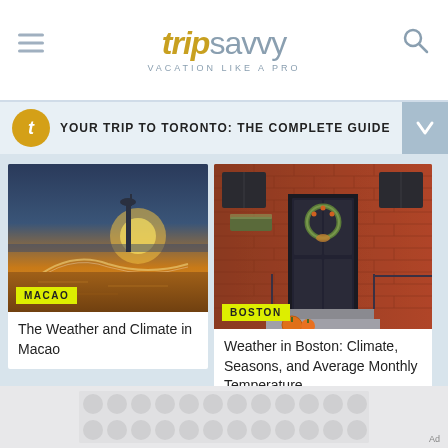[Figure (logo): TripSavvy logo with hamburger menu icon on left and search icon on right. Logo reads 'trip' in gold italic bold and 'savvy' in light grey. Tagline: VACATION LIKE A PRO]
YOUR TRIP TO TORONTO: THE COMPLETE GUIDE
[Figure (photo): Aerial sunset photo of Macao city skyline with tower and curved bridge over water. Label: MACAO]
The Weather and Climate in Macao
[Figure (photo): Photo of a red brick building facade with black door decorated with autumn wreath and pumpkins on steps. Label: BOSTON]
Weather in Boston: Climate, Seasons, and Average Monthly Temperature
[Figure (other): Advertisement placeholder area with grey polka-dot pattern]